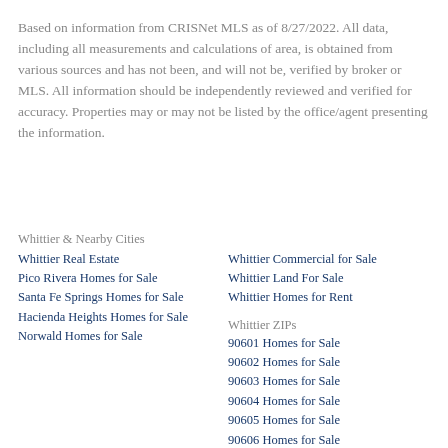Based on information from CRISNet MLS as of 8/27/2022. All data, including all measurements and calculations of area, is obtained from various sources and has not been, and will not be, verified by broker or MLS. All information should be independently reviewed and verified for accuracy. Properties may or may not be listed by the office/agent presenting the information.
Whittier & Nearby Cities
Whittier Real Estate
Pico Rivera Homes for Sale
Santa Fe Springs Homes for Sale
Hacienda Heights Homes for Sale
Norwalks Homes for Sale
Whittier Commercial for Sale
Whittier Land For Sale
Whittier Homes for Rent
Whittier ZIPs
90601 Homes for Sale
90602 Homes for Sale
90603 Homes for Sale
90604 Homes for Sale
90605 Homes for Sale
90606 Homes for Sale
90607 Homes for Sale